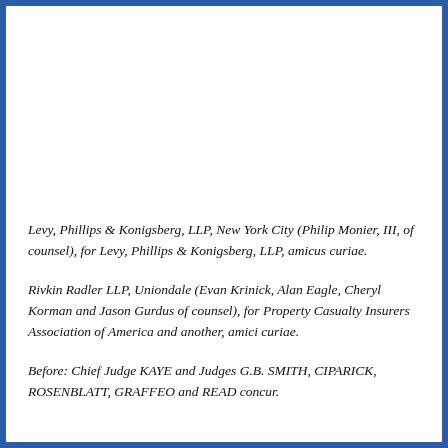Levy, Phillips & Konigsberg, LLP, New York City (Philip Monier, III, of counsel), for Levy, Phillips & Konigsberg, LLP, amicus curiae.
Rivkin Radler LLP, Uniondale (Evan Krinick, Alan Eagle, Cheryl Korman and Jason Gurdus of counsel), for Property Casualty Insurers Association of America and another, amici curiae.
Before: Chief Judge KAYE and Judges G.B. SMITH, CIPARICK, ROSENBLATT, GRAFFEO and READ concur.